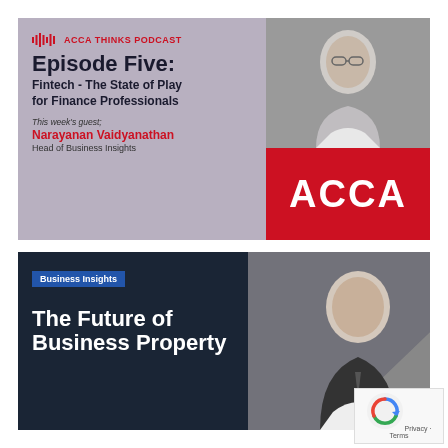[Figure (infographic): ACCA Thinks Podcast promotional card. Episode Five: Fintech - The State of Play for Finance Professionals. Guest: Narayanan Vaidyanathan, Head of Business Insights. Features a photo of the guest and the red ACCA logo on mauve background.]
[Figure (infographic): Business Insights promotional card: 'The Future of Business Property'. Dark navy background with a photo of a man in a suit.]